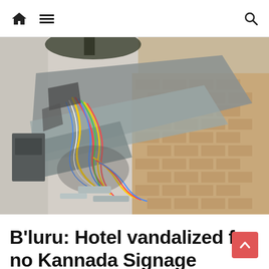Home | Menu | Search
[Figure (photo): Vandalized hotel signage lying on the ground, showing destroyed metal framework with exposed colorful wires and cables scattered on a brick/stone paved sidewalk]
B'luru: Hotel vandalized for no Kannada Signage